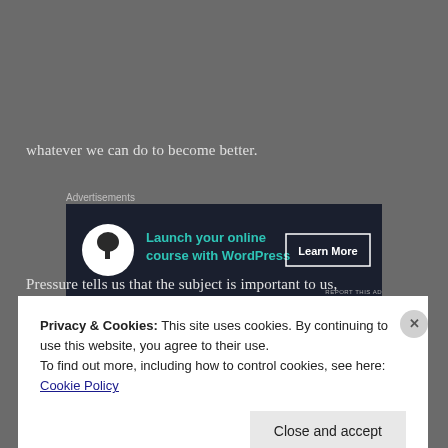whatever we can do to become better.
[Figure (other): Advertisement banner: Launch your online course with WordPress - Learn More]
Pressure tells us that the subject is important to us,
Privacy & Cookies: This site uses cookies. By continuing to use this website, you agree to their use.
To find out more, including how to control cookies, see here: Cookie Policy
Close and accept